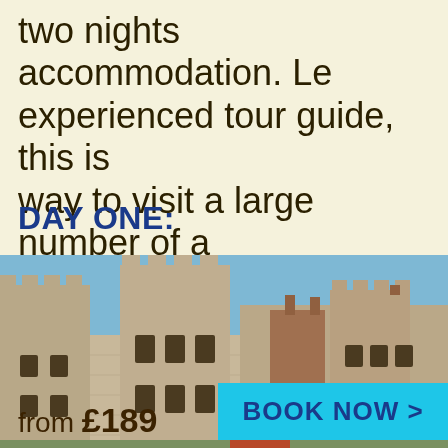two nights accommodation. Led by an experienced tour guide, this is the perfect way to visit a large number of attractions in a short amount of time.
DAY ONE:
[Figure (photo): Photograph of a historic English castle with stone battlements, towers and brick chimneys against a blue sky]
from £189
BOOK NOW >